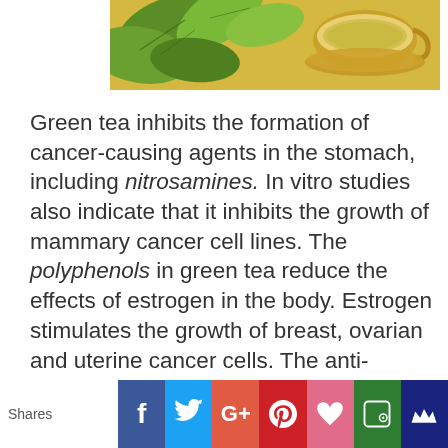[Figure (photo): Photo of green tea leaves and a cup of green tea on a wooden surface, viewed from above]
Green tea inhibits the formation of cancer-causing agents in the stomach, including nitrosamines. In vitro studies also indicate that it inhibits the growth of mammary cancer cell lines. The polyphenols in green tea reduce the effects of estrogen in the body. Estrogen stimulates the growth of breast, ovarian and uterine cancer cells. The anti-cancer properties of green tea include being an immune stimulant, inhibiting platelet adhesion and p
[Figure (infographic): Social sharing bar with Facebook, Twitter, Google+, Pinterest, heart/Wanelo, Feedly, and Crown icons]